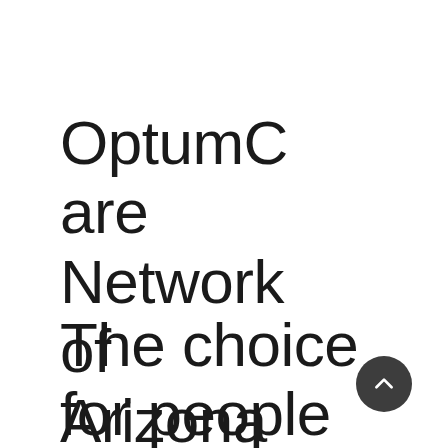OptumCare Network of Arizona
The choice for people with